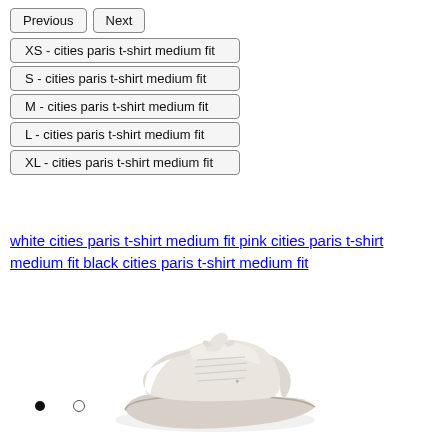Previous
Next
XS - cities paris t-shirt medium fit
S - cities paris t-shirt medium fit
M - cities paris t-shirt medium fit
L - cities paris t-shirt medium fit
XL - cities paris t-shirt medium fit
white cities paris t-shirt medium fit pink cities paris t-shirt medium fit black cities paris t-shirt medium fit
[Figure (photo): A white/cream sneaker shoe with chunky sole, photographed from a side-front angle on white background]
• ○